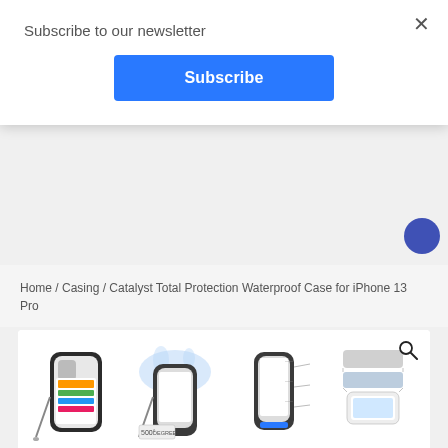Subscribe to our newsletter
Subscribe
Home / Casing / Catalyst Total Protection Waterproof Case for iPhone 13 Pro
[Figure (photo): Four product images of a waterproof iPhone case shown from different angles: case with wrist strap, case being splashed with water and 500° rating label, case side view with spec callouts, and exploded view of case layers]
Catalyst Total Protection Waterproof Case for iPhone 13 Pro